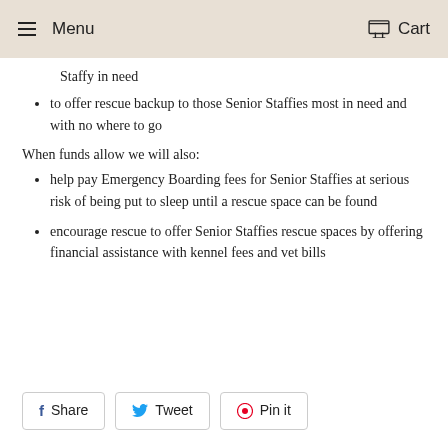Menu  Cart
Staffy in need
to offer rescue backup to those Senior Staffies most in need and with no where to go
When funds allow we will also:
help pay Emergency Boarding fees for Senior Staffies at serious risk of being put to sleep until a rescue space can be found
encourage rescue to offer Senior Staffies rescue spaces by offering financial assistance with kennel fees and vet bills
Share  Tweet  Pin it